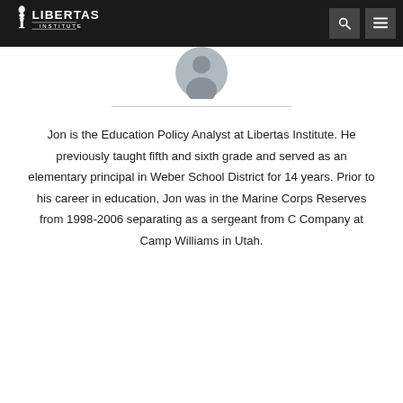Libertas Institute
[Figure (photo): Partial circular profile photo of a person, cropped at the bottom of the navigation bar area]
Jon is the Education Policy Analyst at Libertas Institute. He previously taught fifth and sixth grade and served as an elementary principal in Weber School District for 14 years. Prior to his career in education, Jon was in the Marine Corps Reserves from 1998-2006 separating as a sergeant from C Company at Camp Williams in Utah.